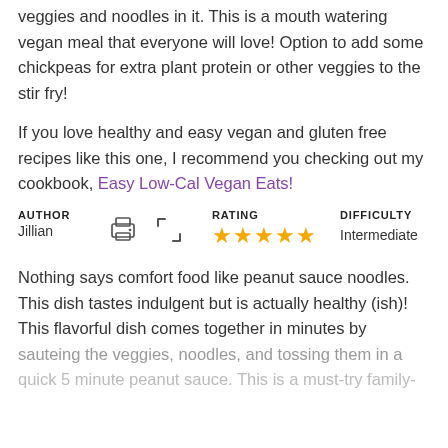veggies and noodles in it. This is a mouth watering vegan meal that everyone will love! Option to add some chickpeas for extra plant protein or other veggies to the stir fry!
If you love healthy and easy vegan and gluten free recipes like this one, I recommend you checking out my cookbook, Easy Low-Cal Vegan Eats!
AUTHOR
Jillian  [print icon] [expand icon]  RATING ★★★★★  DIFFICULTY Intermediate
Nothing says comfort food like peanut sauce noodles. This dish tastes indulgent but is actually healthy (ish)! This flavorful dish comes together in minutes by sauteing the veggies, noodles, and tossing them in a quick 5 minute peanut sauce. This is a must-try family-